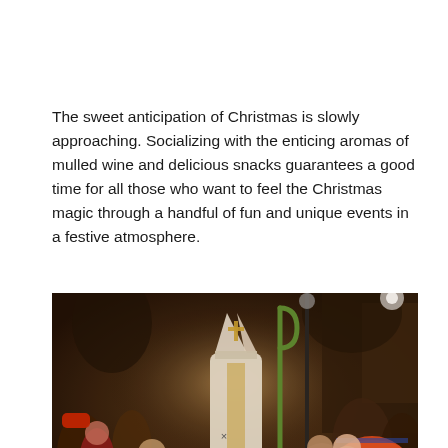The sweet anticipation of Christmas is slowly approaching. Socializing with the enticing aromas of mulled wine and delicious snacks guarantees a good time for all those who want to feel the Christmas magic through a handful of fun and unique events in a festive atmosphere.
[Figure (photo): A nighttime outdoor crowd scene with a person dressed as Saint Nicholas or a bishop in white robes and mitre, holding a green shepherd's crook staff. The crowd includes people in winter clothing, hats, and colorful festive attire. A stone building and trees are visible in the background.]
×